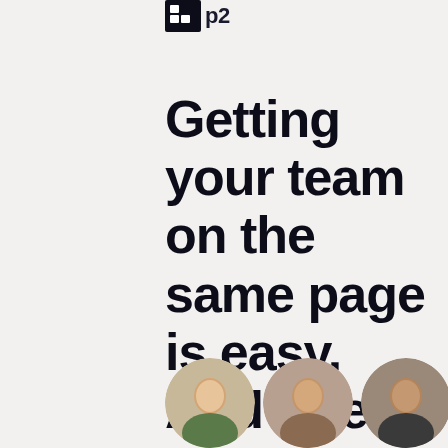[Figure (logo): P2 logo — dark square grid icon and 'p2' text]
Getting your team on the same page is easy. And free.
[Figure (photo): Row of circular profile photo avatars of team members, plus a blue circle, partially visible at the bottom of the page]